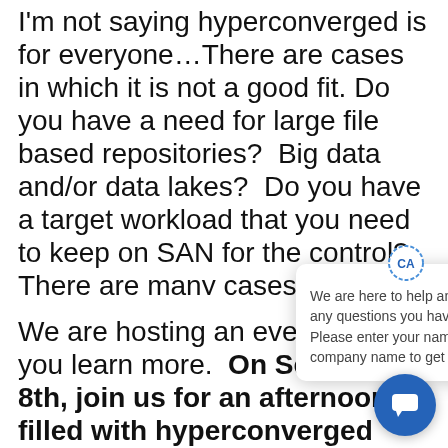I'm not saying hyperconverged is for everyone…There are cases in which it is not a good fit. Do you have a need for large file based repositories?  Big data and/or data lakes?  Do you have a target workload that you need to keep on SAN for the control?  There are many cases where keeping SAN makes sense.  This is something we can work through.
We are hosting an event to help you learn more.  On September 8th, join us for an afternoon filled with hyperconverged deep dives and demos.  We will have hands on labs of 4 different
[Figure (screenshot): Chat popup overlay with 'CA' avatar icon and text: 'We are here to help answer any questions you have. Please enter your name and company name to get started.' with a close (X) button. A blue circular chat button appears at the bottom right.]